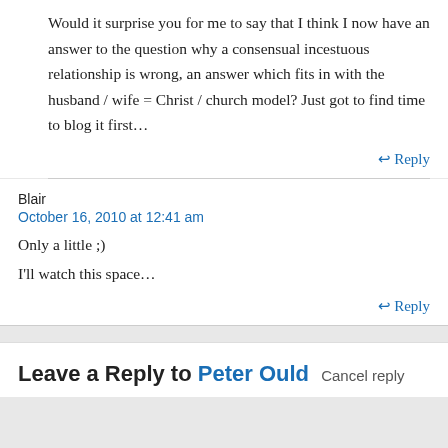Would it surprise you for me to say that I think I now have an answer to the question why a consensual incestuous relationship is wrong, an answer which fits in with the husband / wife = Christ / church model? Just got to find time to blog it first…
↩ Reply
Blair
October 16, 2010 at 12:41 am
Only a little ;)
I'll watch this space…
↩ Reply
Leave a Reply to Peter Ould Cancel reply